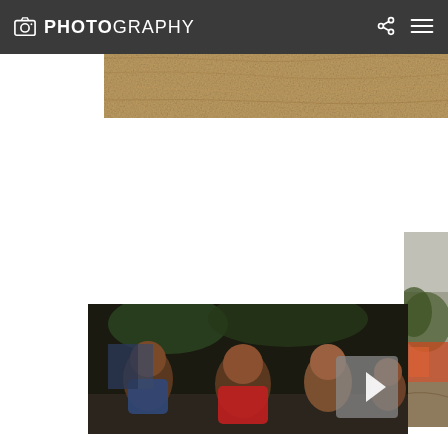PHOTOGRAPHY
[Figure (photo): Sandy/earthy textured surface, top strip image]
[Figure (photo): Vertical right-side strip showing people in a flood/outdoor scene with colorful clothing and muddy water]
[Figure (photo): Group of children sitting together outdoors, main featured photo of Rohingya refugees]